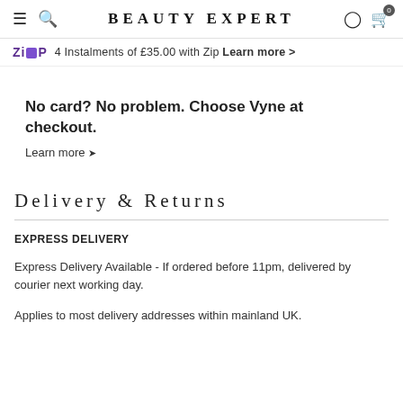BEAUTY EXPERT
4 Instalments of £35.00 with Zip Learn more >
No card? No problem. Choose Vyne at checkout.
Learn more >
Delivery & Returns
EXPRESS DELIVERY
Express Delivery Available - If ordered before 11pm, delivered by courier next working day.
Applies to most delivery addresses within mainland UK.